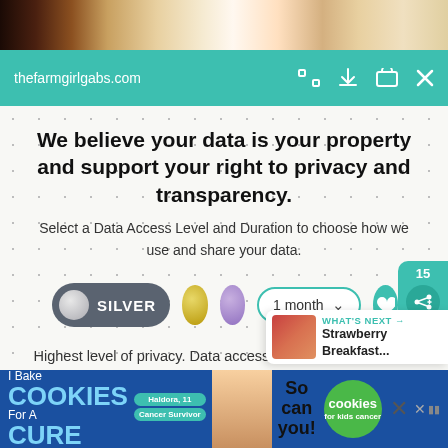[Figure (photo): Food photograph showing blueberry dessert and other baked goods at top of page]
thefarmgirlgabs.com
We believe your data is your property and support your right to privacy and transparency.
Select a Data Access Level and Duration to choose how we use and share your data.
[Figure (infographic): Data access level selector showing SILVER pill selected, gold circle, purple circle, 1 month dropdown, and heart button]
Highest level of privacy. Data accessed for necessary basic operations only. Data shared with 3rd parties to ensure the site is secure and works on your device
[Figure (screenshot): What's Next panel showing Strawberry Breakfast thumbnail]
[Figure (infographic): Save my preferences button in teal]
[Figure (advertisement): I Bake Cookies For A Cure advertisement banner with Haldora, 11 Cancer Survivor]